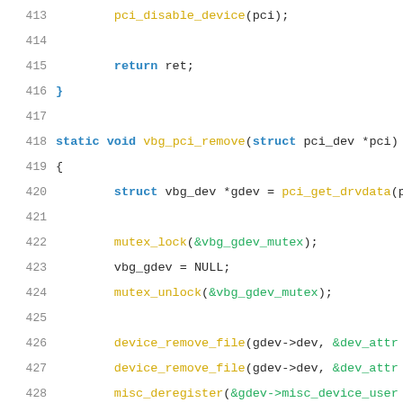Source code listing lines 413-434, C language, showing pci_disable_device, vbg_pci_remove function, and vbg_get_gdev function signature